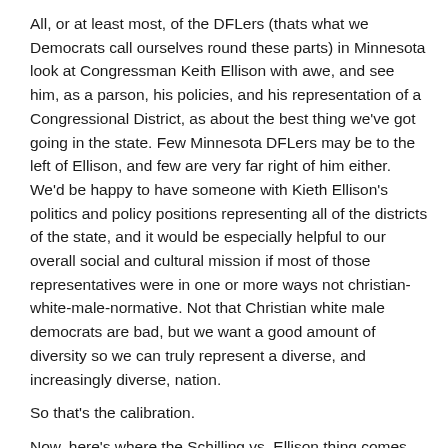All, or at least most, of the DFLers (thats what we Democrats call ourselves round these parts) in Minnesota look at Congressman Keith Ellison with awe, and see him, as a parson, his policies, and his representation of a Congressional District, as about the best thing we've got going in the state. Few Minnesota DFLers may be to the left of Ellison, and few are very far right of him either. We'd be happy to have someone with Kieth Ellison's politics and policy positions representing all of the districts of the state, and it would be especially helpful to our overall social and cultural mission if most of those representatives were in one or more ways not christian-white-male-normative. Not that Christian white male democrats are bad, but we want a good amount of diversity so we can truly represent a diverse, and increasingly diverse, nation.
So that's the calibration.
Now, here's where the Schilling vs. Ellison thing comes...